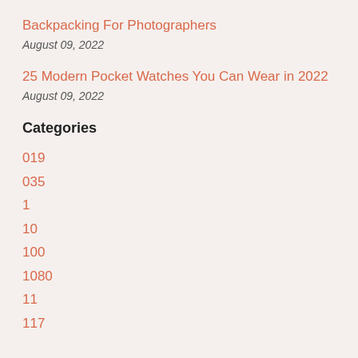Backpacking For Photographers
August 09, 2022
25 Modern Pocket Watches You Can Wear in 2022
August 09, 2022
Categories
019
035
1
10
100
1080
11
117